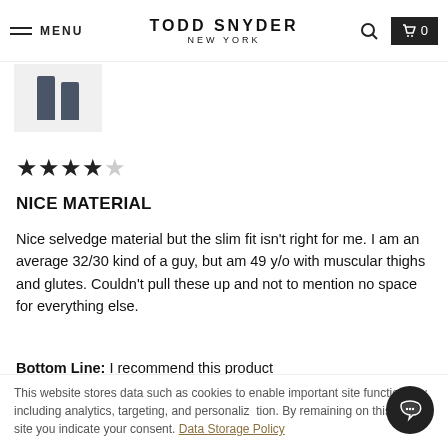MENU | TODD SNYDER NEW YORK | 0
[Figure (photo): Small thumbnail image of dark jeans product on light gray background]
[Figure (other): 4 out of 5 star rating]
NICE MATERIAL
Nice selvedge material but the slim fit isn't right for me. I am an average 32/30 kind of a guy, but am 49 y/o with muscular thighs and glutes. Couldn't pull these up and not to mention no space for everything else.
Bottom Line: I recommend this product
Was this helpful?
This website stores data such as cookies to enable important site functionality including analytics, targeting, and personalization. By remaining on this web site you indicate your consent. Data Storage Policy